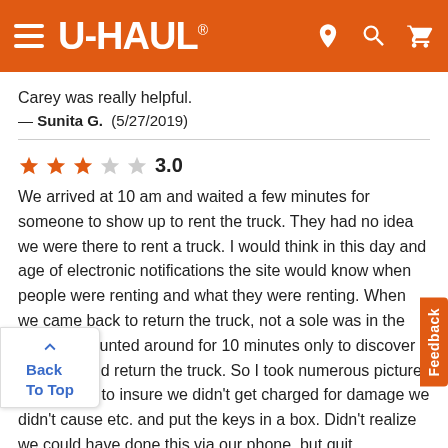[Figure (logo): U-Haul website header with orange background, hamburger menu icon, U-HAUL logo in white, and location/search/cart icons on the right]
Carey was really helpful.
— Sunita G.  (5/27/2019)
3.0 (3 out of 5 stars rating)
We arrived at 10 am and waited a few minutes for someone to show up to rent the truck. They had no idea we were there to rent a truck. I would think in this day and age of electronic notifications the site would know when people were renting and what they were renting. When we came back to return the truck, not a sole was in the store. We hunted around for 10 minutes only to discover no one could return the truck. So I took numerous pictures of the truck to insure we didn't get charged for damage we didn't cause etc. and put the keys in a box. Didn't realize we could have done this via our phone, but quit
n tired of putting so much personal information into s site. And don't tell me yours is secure - the IRS, US Bank, d numerous others have said the same thing and our identity was stolen from these sites, so don't get me started. And by